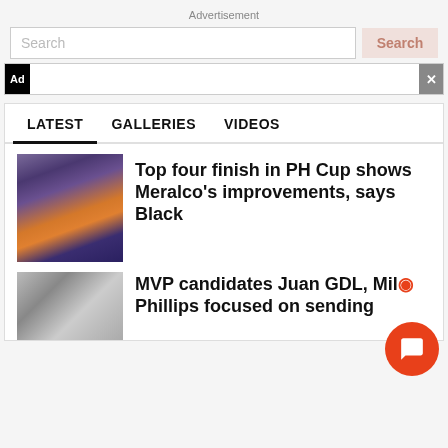Advertisement
Search
Ad ×
LATEST	GALLERIES	VIDEOS
[Figure (photo): Basketball players crowded together, one wearing orange headband and yellow jersey]
Top four finish in PH Cup shows Meralco's improvements, says Black
[Figure (photo): Basketball player shooting in arena]
MVP candidates Juan GDL, Mike Phillips focused on sending